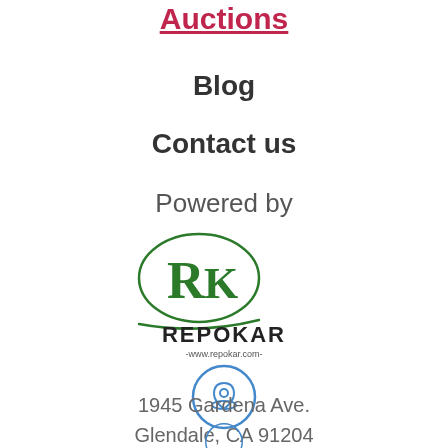Auctions
Blog
Contact us
Powered by
[Figure (logo): REPOKAR logo with green R and K letters inside an oval, with text REPOKAR and -www.repokar.com- below]
[Figure (illustration): Blue circle with location pin icon inside]
1945 Gardena Ave.
Glendale, CA 91204
[Figure (illustration): Blue circle icon at bottom, partially visible]